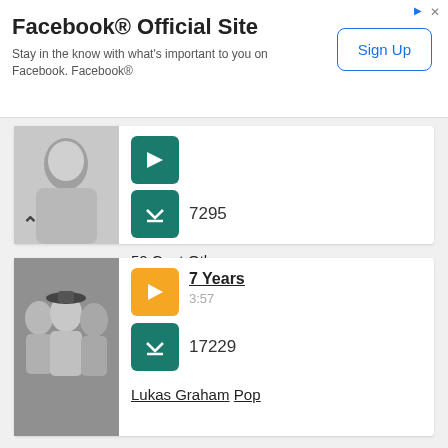[Figure (screenshot): Facebook Official Site ad banner with Sign Up button]
[Figure (photo): Partial photo of a man in a grey t-shirt (50 Cent) with up arrow and download count 7295]
50 Cent
Other
[Figure (photo): Black and white photo of Lukas Graham band members with play button showing 7 Years 3:57 and download count 17229]
7 Years
3:57
17229
Lukas Graham
Pop